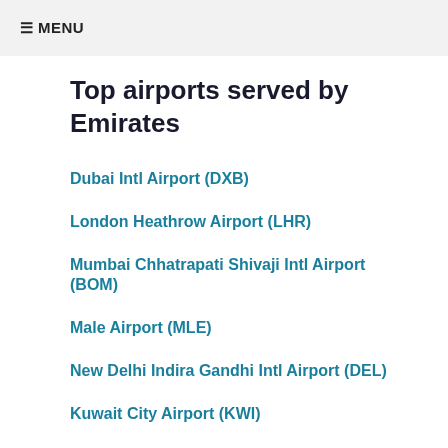≡ MENU
Top airports served by Emirates
Dubai Intl Airport (DXB)
London Heathrow Airport (LHR)
Mumbai Chhatrapati Shivaji Intl Airport (BOM)
Male Airport (MLE)
New Delhi Indira Gandhi Intl Airport (DEL)
Kuwait City Airport (KWI)
Bangkok Suvarnabhumi Airport (BKK)
Cairo Airport (CAI)